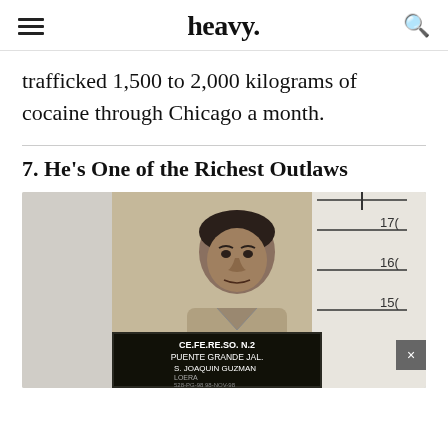heavy.
trafficked 1,500 to 2,000 kilograms of cocaine through Chicago a month.
7. He's One of the Richest Outlaws
[Figure (photo): Mugshot photo of Joaquin Guzman (El Chapo) against a height measurement chart. A placard at the bottom reads: CE.FE.RE.SO. N.2 PUENTE GRANDE JAL. S. JOAQUIN GUZMAN LOERA. Height markers visible: 170, 160, 150.]